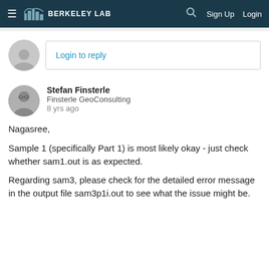BERKELEY LAB | Sign Up | Login
Login to reply
Stefan Finsterle
Finsterle GeoConsulting
8 yrs ago
Nagasree,

Sample 1 (specifically Part 1) is most likely okay - just check whether sam1.out is as expected.

Regarding sam3, please check for the detailed error message in the output file sam3p1i.out to see what the issue might be.